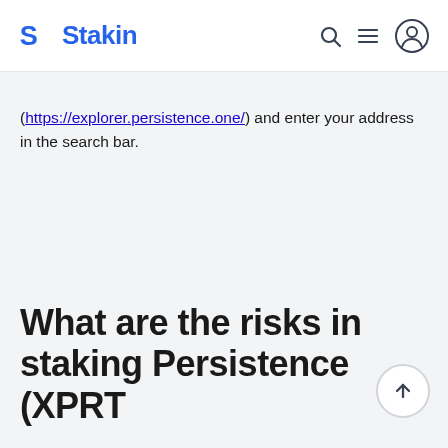Stakin
(https://explorer.persistence.one/) and enter your address in the search bar.
What are the risks in staking Persistence (XPRT